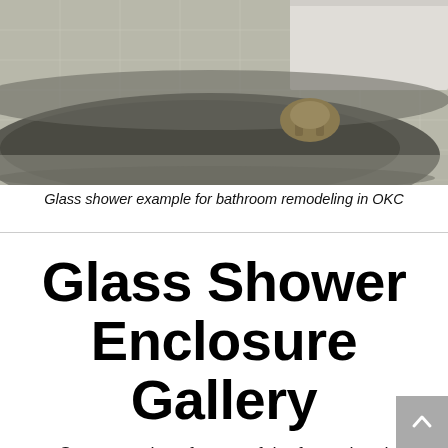[Figure (photo): A gray/dark freestanding bathtub with bronze/gold faucets on white tile floor, photographed from above at an angle. Part of a bathroom remodeling showcase.]
Glass shower example for bathroom remodeling in OKC
Glass Shower Enclosure Gallery
See examples of some of the framed and frameless glass shower and tub enclosures we have installed in the Oklahoma City area